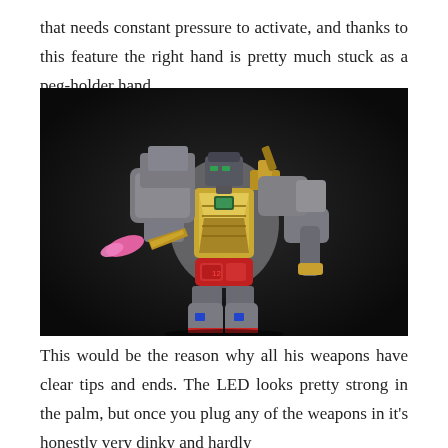that needs constant pressure to activate, and thanks to this feature the right hand is pretty much stuck as a peg-holder hand.
[Figure (photo): A Transformers action figure (Grimlock or similar Dinobot) with gold chrome chest, gray dinosaur-mode back kibble, red waist, and clear-tipped pink weapons in its hands, posed against a dark background.]
This would be the reason why all his weapons have clear tips and ends. The LED looks pretty strong in the palm, but once you plug any of the weapons in it's honestly very dinky and hardly